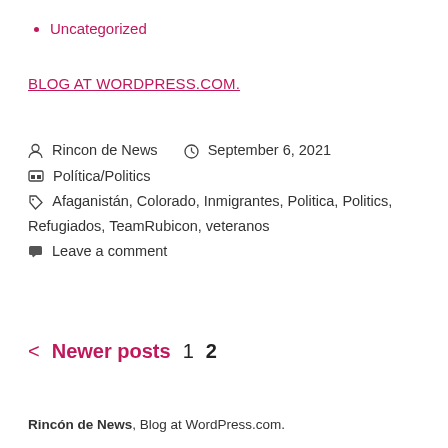Uncategorized
BLOG AT WORDPRESS.COM.
Rincon de News   September 6, 2021
Política/Politics
Afaganistán, Colorado, Inmigrantes, Politica, Politics, Refugiados, TeamRubicon, veteranos
Leave a comment
< Newer posts  1  2
Rincón de News, Blog at WordPress.com.